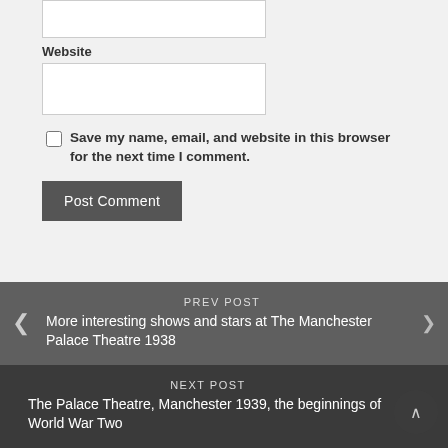Website
Save my name, email, and website in this browser for the next time I comment.
Post Comment
PREV POST
More interesting shows and stars at The Manchester Palace Theatre 1938
NEXT POST
The Palace Theatre, Manchester 1939, the beginnings of World War Two